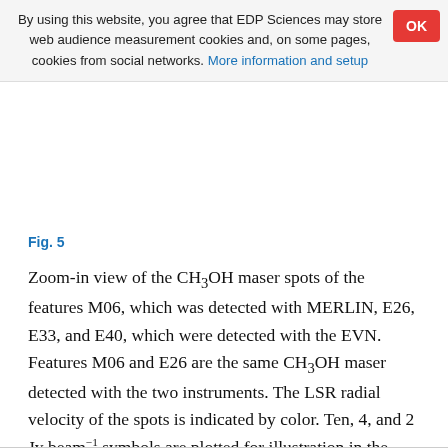By using this website, you agree that EDP Sciences may store web audience measurement cookies and, on some pages, cookies from social networks. More information and setup
Fig. 5
Zoom-in view of the CH3OH maser spots of the features M06, which was detected with MERLIN, E26, E33, and E40, which were detected with the EVN. Features M06 and E26 are the same CH3OH maser detected with the two instruments. The LSR radial velocity of the spots is indicated by color. Ten, 4, and 2 Jy beam⁻¹ symbols are plotted for illustration in the panels.